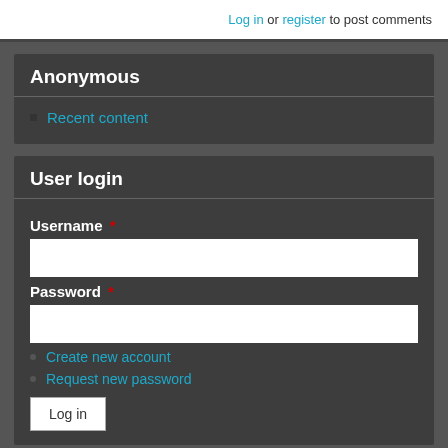Log in or register to post comments
Anonymous
Recent content
User login
Username *
Password *
Create new account
Request new password
Log in
Navigation